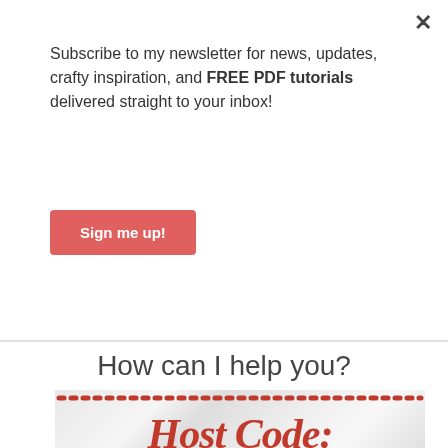Subscribe to my newsletter for news, updates, crafty inspiration, and FREE PDF tutorials delivered straight to your inbox!
Sign me up!
How can I help you?
[Figure (illustration): Host Code promotional banner with marble background, red dotted border at top, and text 'Host Code:' in red script/italic font with partial code text below]
Advertisements
REPORT THIS AD